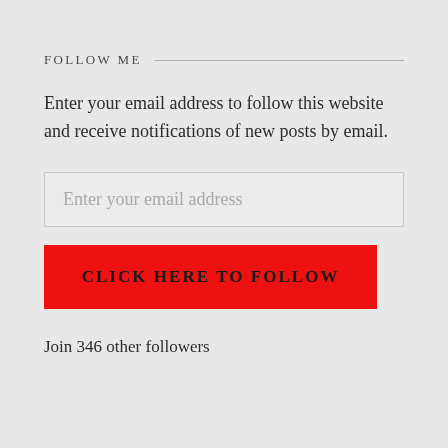FOLLOW ME
Enter your email address to follow this website and receive notifications of new posts by email.
Enter your email address
CLICK HERE TO FOLLOW
Join 346 other followers